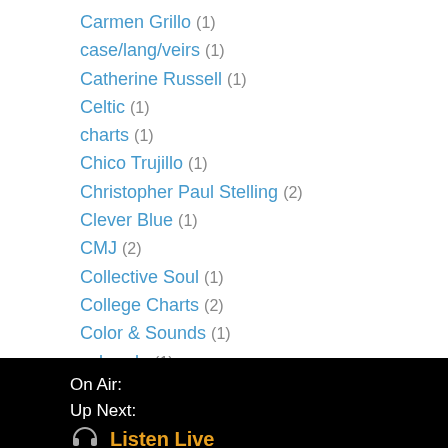Carmen Grillo (1)
case/lang/veirs (1)
Catherine Russell (1)
Celtic (1)
charts (1)
Chico Trujillo (1)
Christopher Paul Stelling (2)
Clever Blue (1)
CMJ (2)
Collective Soul (1)
College Charts (2)
Color & Sounds (1)
colorado (1)
Colorado Music (1)
Community Radio (1)
concerts (1)
On Air:
Up Next:
🎧 Listen Live